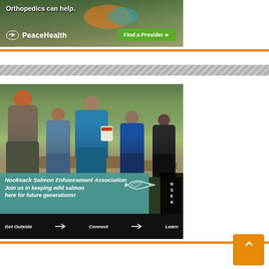[Figure (photo): PeaceHealth advertisement banner with text 'Orthopedics can help.' and a green button 'Find a Provider ►' with the PeaceHealth logo. Background shows people outdoors with colorful clothing.]
[Figure (photo): Nooksack Salmon Enhancement Association advertisement. Shows youth volunteers in a forest carrying a white bucket. Teal banner overlay reads 'Nooksack Salmon Enhancement Association - Join us in keeping wild salmon here for future generations!' Black footer has 'Get Outside ➜ Connect ➜ Learn' with salmon icons. NSEA badge in corner.]